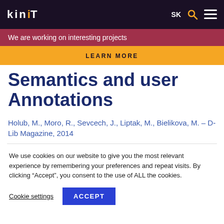KinIT SK
We are working on interesting projects
LEARN MORE
Semantics and user Annotations
Holub, M., Moro, R., Sevcech, J., Liptak, M., Bielikova, M. – D-Lib Magazine, 2014
We use cookies on our website to give you the most relevant experience by remembering your preferences and repeat visits. By clicking “Accept”, you consent to the use of ALL the cookies.
Cookie settings   ACCEPT